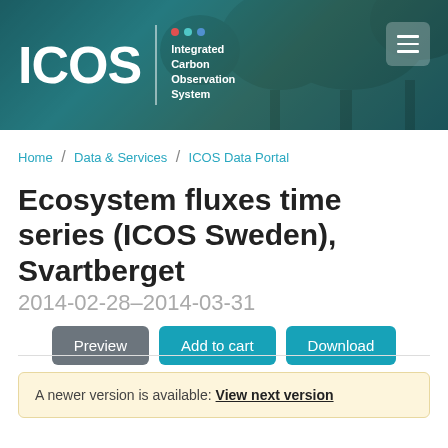[Figure (logo): ICOS (Integrated Carbon Observation System) header banner with teal/dark background and forest imagery]
Home / Data & Services / ICOS Data Portal
Ecosystem fluxes time series (ICOS Sweden), Svartberget
2014-02-28–2014-03-31
Preview | Add to cart | Download
A newer version is available: View next version